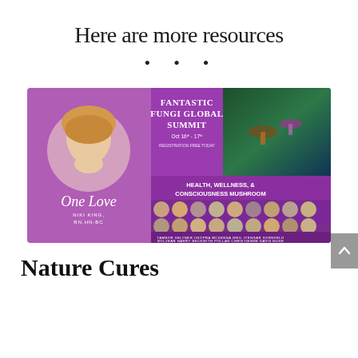Here are more resources
•••
[Figure (illustration): Promotional banner for Fantastic Fungi Global Summit featuring a woman (Niki King, RN, HN-BC) in a circular portrait on left with purple background and 'One Love' text, and on the right the summit details: 'Fantastic Fungi Global Summit, Oct 16th-17th, Health, Wellness, & Consciousness Mushroom' with speaker headshots and names including Tambor, Seltner, Chopra, McKenna, Weil, Iyengar, Sornfeld, Bolzear, Harry, Beckwith, Pollan, Christienne, Davis, Bush against a forest background.]
Nature Cures